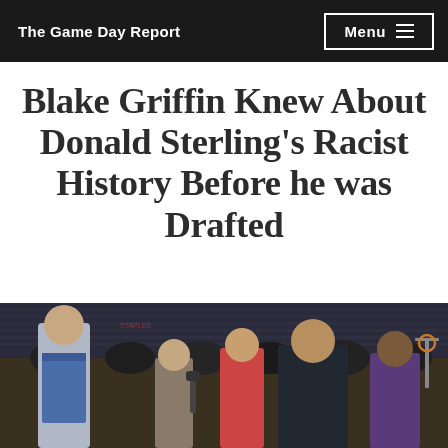The Game Day Report | Menu
Blake Griffin Knew About Donald Sterling's Racist History Before he was Drafted
[Figure (photo): Blake Griffin standing with Donald Sterling at a basketball arena, surrounded by other people, with the arena seating visible in the background.]